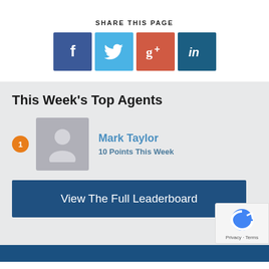SHARE THIS PAGE
[Figure (infographic): Four social media share buttons: Facebook (blue), Twitter (light blue), Google+ (red), LinkedIn (dark blue)]
This Week's Top Agents
1  Mark Taylor  10 Points This Week
View The Full Leaderboard